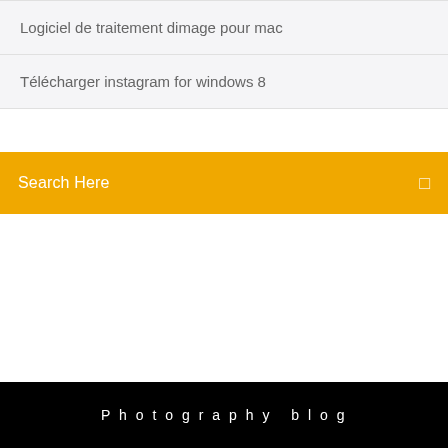Logiciel de traitement dimage pour mac
Télécharger instagram for windows 8
Search Here
Photography blog